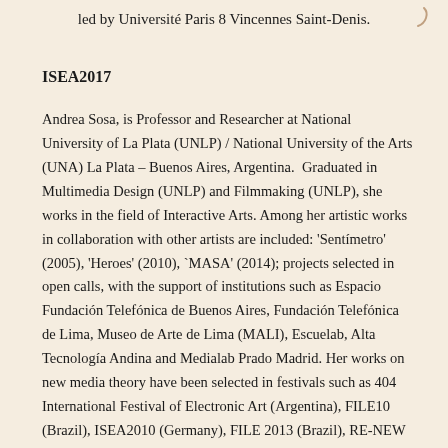led by Université Paris 8 Vincennes Saint-Denis.
ISEA2017
Andrea Sosa, is Professor and Researcher at National University of La Plata (UNLP) / National University of the Arts (UNA) La Plata – Buenos Aires, Argentina.  Graduated in Multimedia Design (UNLP) and Filmmaking (UNLP), she works in the field of Interactive Arts. Among her artistic works in collaboration with other artists are included: 'Sentímetro' (2005), 'Heroes' (2010), `MASA' (2014); projects selected in open calls, with the support of institutions such as Espacio Fundación Telefónica de Buenos Aires, Fundación Telefónica de Lima, Museo de Arte de Lima (MALI), Escuelab, Alta Tecnología Andina and Medialab Prado Madrid. Her works on new media theory have been selected in festivals such as 404 International Festival of Electronic Art (Argentina), FILE10 (Brazil), ISEA2010 (Germany), FILE 2013 (Brazil), RE-NEW Festival (Denmark), ISEA2014 (Dubai), Computer Art Congress (Brasil), SIGRADI